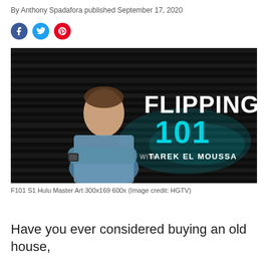By Anthony Spadafora published September 17, 2020
[Figure (photo): Social media share icons: Facebook (blue), Twitter (cyan), Pinterest (red)]
[Figure (photo): Promotional image for 'Flipping 101 with Tarek El Moussa' on HGTV/Hulu showing Tarek El Moussa standing with arms crossed against a dark wood-panel background with the show title in large white and teal text.]
F101 S1 Hulu Master Art 300x169 600x (Image credit: HGTV)
Have you ever considered buying an old house,